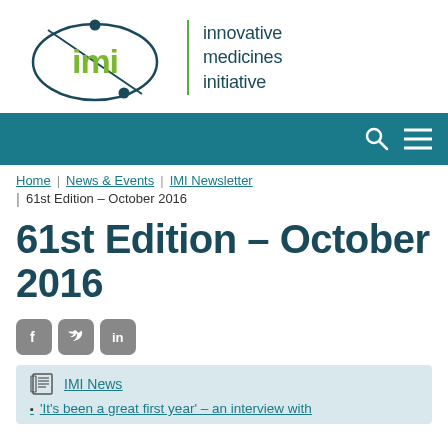[Figure (logo): IMI (Innovative Medicines Initiative) logo with ellipse orbit graphic, green 'imi' text, and teal wordmark]
[Figure (screenshot): Teal navigation bar with search and menu icons]
Home | News & Events | IMI Newsletter | 61st Edition – October 2016
61st Edition – October 2016
[Figure (infographic): Social media icons: Facebook, Twitter, LinkedIn]
IMI News
'It's been a great first year' – an interview with